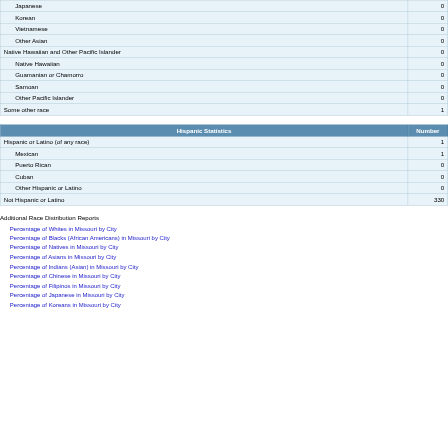|  | Number |
| --- | --- |
| Japanese | 0 |
| Korean | 0 |
| Vietnamese | 0 |
| Other Asian | 0 |
| Native Hawaiian and Other Pacific Islander | 0 |
| Native Hawaiian | 0 |
| Guamanian or Chamorro | 0 |
| Samoan | 0 |
| Other Pacific Islander | 0 |
| Some other race | 1 |
| Hispanic Statistics | Number |
| --- | --- |
| Hispanic or Latino (of any race) | 1 |
| Mexican | 1 |
| Puerto Rican | 0 |
| Cuban | 0 |
| Other Hispanic or Latino | 0 |
| Not Hispanic or Latino | 330 |
Additional Race Distribution Reports
Percentage of Whites in Missouri by City
Percentage of Blacks (African Americans) in Missouri by City
Percentage of Natives in Missouri by City
Percentage of Asians in Missouri by City
Percentage of Indians (Asian) in Missouri by City
Percentage of Chinese in Missouri by City
Percentage of Filipinos in Missouri by City
Percentage of Japanese in Missouri by City
Percentage of Koreans in Missouri by City